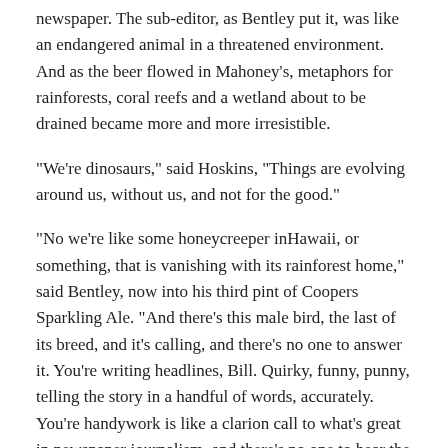newspaper. The sub-editor, as Bentley put it, was like an endangered animal in a threatened environment. And as the beer flowed in Mahoney's, metaphors for rainforests, coral reefs and a wetland about to be drained became more and more irresistible.
"We're dinosaurs," said Hoskins, "Things are evolving around us, without us, and not for the good."
“No we're like some honeycreeper inHawaii, or something, that is vanishing with its rainforest home,” said Bentley, now into his third pint of Coopers Sparkling Ale. “And there's this male bird, the last of its breed, and it's calling, and there's no one to answer it. You're writing headlines, Bill. Quirky, funny, punny, telling the story in a handful of words, accurately. You're handywork is like a clarion call to what's great in newspaper journalism, and there's no one to hear the call.”